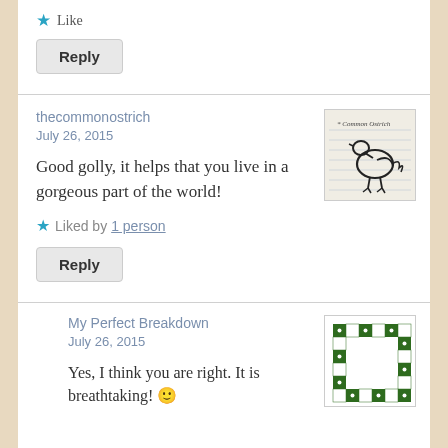★ Like
Reply
thecommonostrich
July 26, 2015
Good golly, it helps that you live in a gorgeous part of the world!
[Figure (illustration): Hand-drawn sketch of a common ostrich on lined paper with text 'Common Ostrich']
★ Liked by 1 person
Reply
My Perfect Breakdown
July 26, 2015
Yes, I think you are right. It is breathtaking! 🙂
[Figure (logo): Green and white checkered square logo for My Perfect Breakdown]